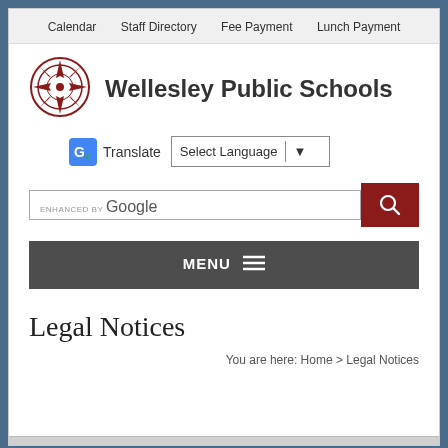Calendar   Staff Directory   Fee Payment   Lunch Payment
Wellesley Public Schools
[Figure (logo): Wellesley Public Schools compass rose logo in red and dark red]
Translate   Select Language
ENHANCED BY Google [search box]
MENU
Legal Notices
You are here: Home > Legal Notices